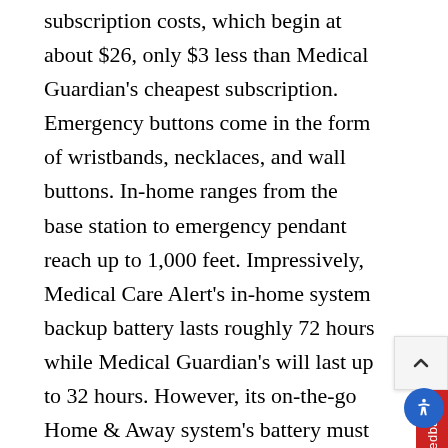subscription costs, which begin at about $26, only $3 less than Medical Guardian's cheapest subscription. Emergency buttons come in the form of wristbands, necklaces, and wall buttons. In-home ranges from the base station to emergency pendant reach up to 1,000 feet. Impressively, Medical Care Alert's in-home system backup battery lasts roughly 72 hours while Medical Guardian's will last up to 32 hours. However, its on-the-go Home & Away system's battery must recharge every three days.
Overall, Medical guardian prices are comparable to the costs of Medical Care Alert.
One More Widget: (partially visible at bottom)